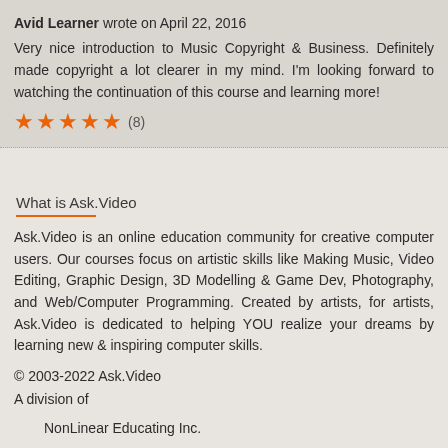Avid Learner wrote on April 22, 2016
Very nice introduction to Music Copyright & Business. Definitely made copyright a lot clearer in my mind. I'm looking forward to watching the continuation of this course and learning more!
★★★★★ (8)
What is Ask.Video
Ask.Video is an online education community for creative computer users. Our courses focus on artistic skills like Making Music, Video Editing, Graphic Design, 3D Modelling & Game Dev, Photography, and Web/Computer Programming. Created by artists, for artists, Ask.Video is dedicated to helping YOU realize your dreams by learning new & inspiring computer skills.
© 2003-2022 Ask.Video
A division of
NonLinear Educating Inc.